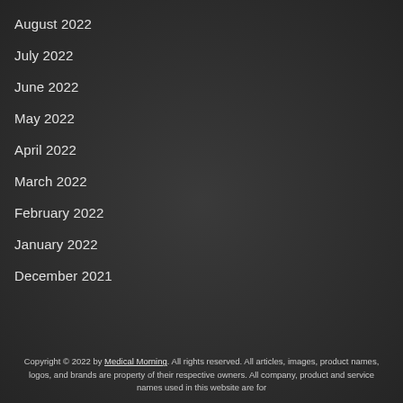August 2022
July 2022
June 2022
May 2022
April 2022
March 2022
February 2022
January 2022
December 2021
Copyright © 2022 by Medical Morning. All rights reserved. All articles, images, product names, logos, and brands are property of their respective owners. All company, product and service names used in this website are for identification purposes only.